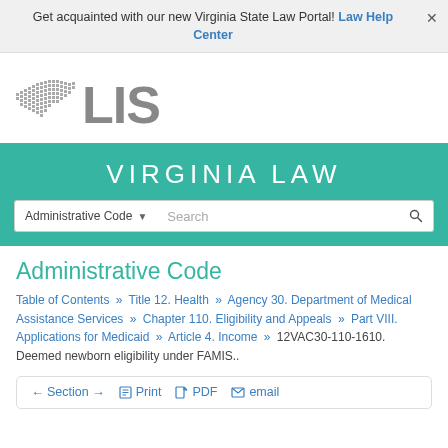Get acquainted with our new Virginia State Law Portal! Law Help Center ×
[Figure (logo): Virginia LIS logo — silhouette of Virginia state map made of dots, followed by large gray text 'LIS']
VIRGINIA LAW
Administrative Code ▾   Search 🔍
Administrative Code
Table of Contents » Title 12. Health » Agency 30. Department of Medical Assistance Services » Chapter 110. Eligibility and Appeals » Part VIII. Applications for Medicaid » Article 4. Income » 12VAC30-110-1610. Deemed newborn eligibility under FAMIS..
← Section →   🖨 Print   📄 PDF   ✉ email